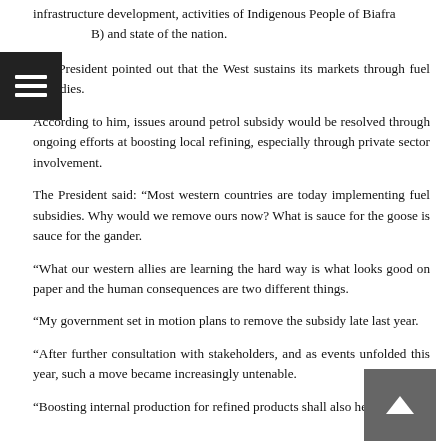infrastructure development, activities of Indigenous People of Biafra (B) and state of the nation.
The President pointed out that the West sustains its markets through fuel subsidies.
According to him, issues around petrol subsidy would be resolved through ongoing efforts at boosting local refining, especially through private sector involvement.
The President said: “Most western countries are today implementing fuel subsidies. Why would we remove ours now? What is sauce for the goose is sauce for the gander.
“What our western allies are learning the hard way is what looks good on paper and the human consequences are two different things.
“My government set in motion plans to remove the subsidy late last year.
“After further consultation with stakeholders, and as events unfolded this year, such a move became increasingly untenable.
“Boosting internal production for refined products shall also help.